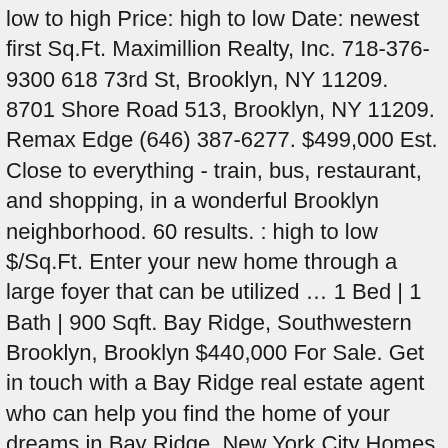low to high Price: high to low Date: newest first Sq.Ft. Maximillion Realty, Inc. 718-376-9300 618 73rd St, Brooklyn, NY 11209. 8701 Shore Road 513, Brooklyn, NY 11209. Remax Edge (646) 387-6277. $499,000 Est. Close to everything - train, bus, restaurant, and shopping, in a wonderful Brooklyn neighborhood. 60 results. : high to low $/Sq.Ft. Enter your new home through a large foyer that can be utilized … 1 Bed | 1 Bath | 900 Sqft. Bay Ridge, Southwestern Brooklyn, Brooklyn $440,000 For Sale. Get in touch with a Bay Ridge real estate agent who can help you find the home of your dreams in Bay Ridge. New York City Homes for Sale … Location . Located right by the R subway station and minutes from the Verrazano-Narrows Bridge, residents can enjoy both the energetic city life of Manhattan and the familial charm of a classic Brooklyn neighborhood. Prime Bensonhurst location corner building! Of these, 9 are condo developments, with 15 units currently under construction. There are 395 active homes for sale in Bay Ridge, Brooklyn, NY, which spend an average of 135 days on the market. Bay